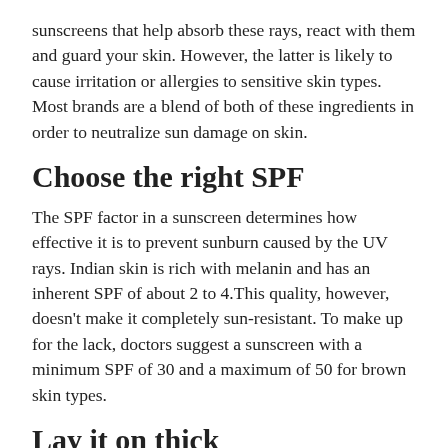sunscreens that help absorb these rays, react with them and guard your skin. However, the latter is likely to cause irritation or allergies to sensitive skin types. Most brands are a blend of both of these ingredients in order to neutralize sun damage on skin.
Choose the right SPF
The SPF factor in a sunscreen determines how effective it is to prevent sunburn caused by the UV rays. Indian skin is rich with melanin and has an inherent SPF of about 2 to 4.This quality, however, doesn't make it completely sun-resistant. To make up for the lack, doctors suggest a sunscreen with a minimum SPF of 30 and a maximum of 50 for brown skin types.
Lay it on thick
Of all the products in your skincare arsenal, sunscreen should get the most playtime. Apply a teaspoon of it on your face and neck and then a shot-glass of it on the rest of your body. Ensure